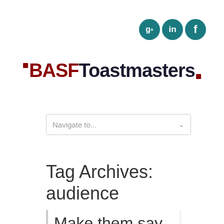[Figure (logo): Social media icons: Google+, LinkedIn, Facebook as teal circles]
[Figure (logo): BASF Toastmasters logo with dark red BASF text and dark navy Toastmasters text]
Navigate to...
Tag Archives:
audiencce
Make them say